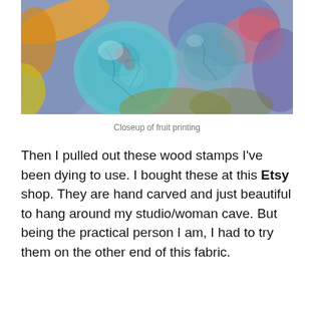[Figure (photo): Close-up photograph of colorful fabric with blue circular shapes resembling fruit prints, surrounded by orange, yellow, pink, and purple hues on a textured surface.]
Closeup of fruit printing
Then I pulled out these wood stamps I've been dying to use. I bought these at this Etsy shop. They are hand carved and just beautiful to hang around my studio/woman cave. But being the practical person I am, I had to try them on the other end of this fabric.